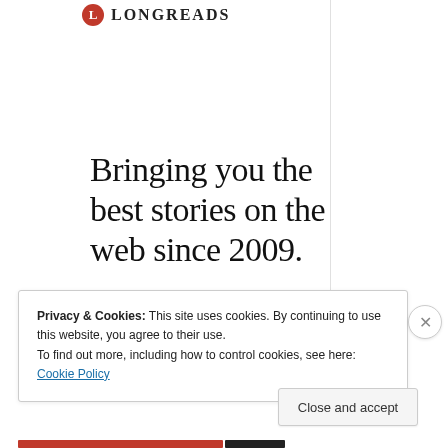LONGREADS
Bringing you the best stories on the web since 2009.
Privacy & Cookies: This site uses cookies. By continuing to use this website, you agree to their use.
To find out more, including how to control cookies, see here: Cookie Policy
Close and accept